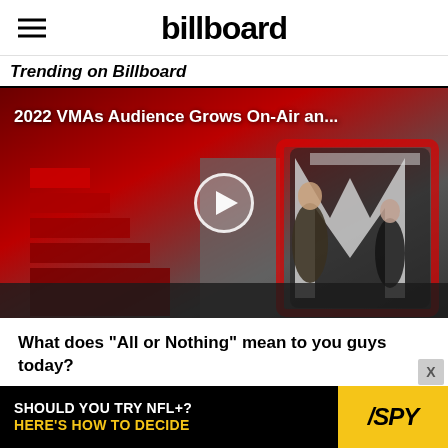billboard
Trending on Billboard
[Figure (screenshot): Video thumbnail of the 2022 VMAs with title overlay '2022 VMAs Audience Grows On-Air an...' showing a performer on stage at the MTV awards, with a play button overlay.]
What does “All or Nothing” mean to you guys today?
Penick: That song probably means more to us now than
[Figure (other): Advertisement banner: 'SHOULD YOU TRY NFL+? HERE'S HOW TO DECIDE' with SPY logo on yellow background]